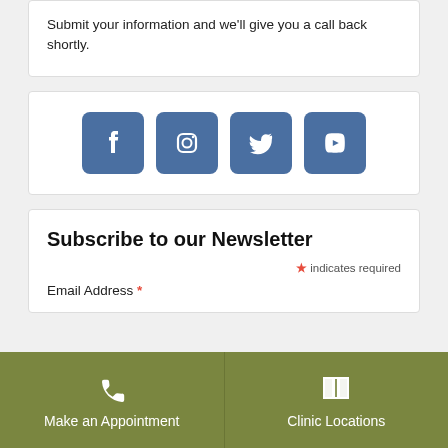Submit your information and we'll give you a call back shortly.
[Figure (infographic): Social media icons: Facebook, Instagram, Twitter, YouTube — blue rounded square buttons]
Subscribe to our Newsletter
* indicates required
Email Address *
Make an Appointment
Clinic Locations